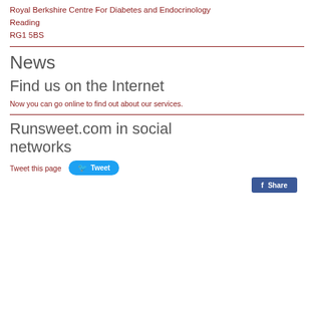Royal Berkshire Centre For Diabetes and Endocrinology
Reading
RG1 5BS
News
Find us on the Internet
Now you can go online to find out about our services.
Runsweet.com in social networks
Tweet this page  Tweet
[Figure (screenshot): Facebook Share button]
Share